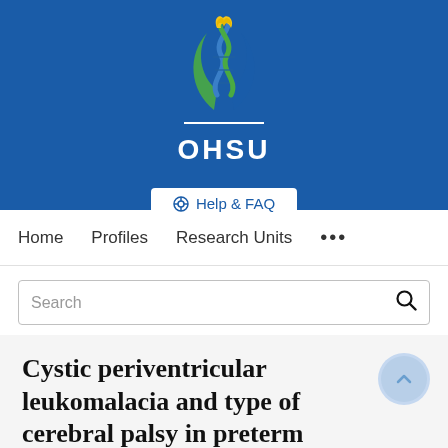[Figure (logo): OHSU (Oregon Health & Science University) logo with stylized DNA/flame design in blue, green, and yellow on a dark blue banner background, with white OHSU text below]
Help & FAQ
Home   Profiles   Research Units   ...
Search
Cystic periventricular leukomalacia and type of cerebral palsy in preterm infants